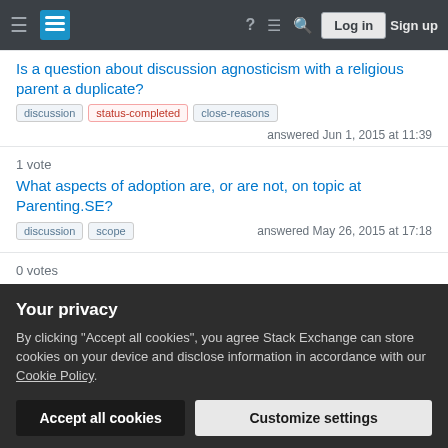Stack Exchange navigation bar with Log in and Sign up buttons
Is a question about discussion agnosticism with a religious parent a duplicate?
discussion | status-completed | close-reasons
answered Jun 1, 2015 at 11:39
1 vote
What aspects of adoption are, or are not, on topic at Parenting.SE?
discussion | scope
answered May 26, 2015 at 17:18
0 votes
Your privacy
By clicking "Accept all cookies", you agree Stack Exchange can store cookies on your device and disclose information in accordance with our Cookie Policy.
Accept all cookies
Customize settings
or not?